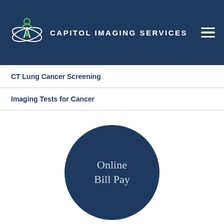[Figure (logo): Capitol Imaging Services logo with green figure and orbital rings, white text 'CAPITOL IMAGING SERVICES' on dark navy header, hamburger menu icon on right]
CT Lung Cancer Screening
Imaging Tests for Cancer
[Figure (infographic): Dark navy circle button with text 'Online Bill Pay' in white serif font]